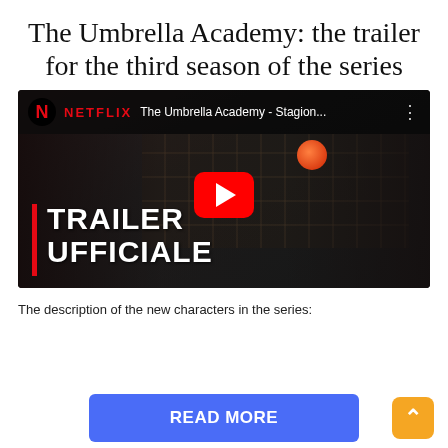The Umbrella Academy: the trailer for the third season of the series
[Figure (screenshot): YouTube video embed thumbnail showing The Umbrella Academy - Stagion... Netflix video with play button, TRAILER UFFICIALE text overlay, and dark scene with characters]
The description of the new characters in the series:
READ MORE